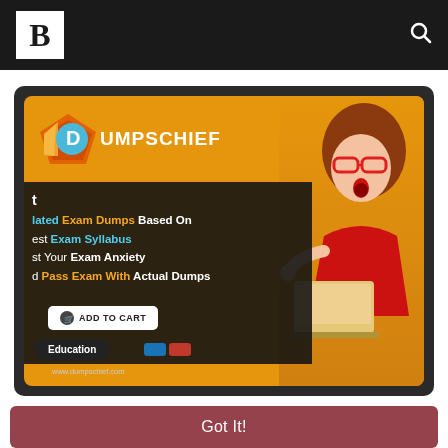B [logo] [search icon]
[Figure (illustration): DumpsChief advertisement banner: orange background with dark band, logo with diamond shape, text lines about exam dumps, woman in red dress pointing at laptop, ADD TO CART button, Education tag, payment icons, www.dumpschief.com URL]
This website uses cookies to ensure you get the best experience on our website. Learn More
Got It!